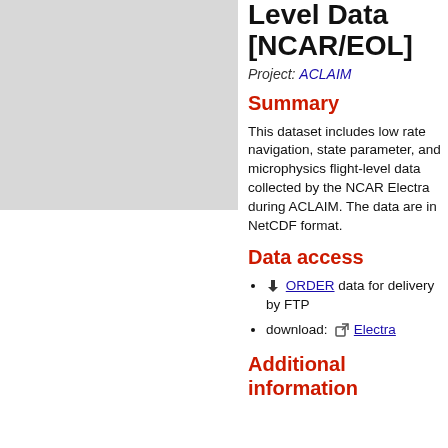[Figure (photo): Gray placeholder image on the left side of the page]
Level Data [NCAR/EOL]
Project: ACLAIM
Summary
This dataset includes low rate navigation, state parameter, and microphysics flight-level data collected by the NCAR Electra during ACLAIM. The data are in NetCDF format.
Data access
ORDER data for delivery by FTP
download: Electra
Additional information